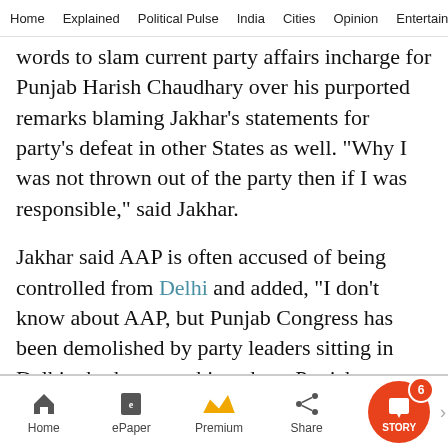Home   Explained   Political Pulse   India   Cities   Opinion   Entertainmer
words to slam current party affairs incharge for Punjab Harish Chaudhary over his purported remarks blaming Jakhar’s statements for party’s defeat in other States as well. “Why I was not thrown out of the party then if I was responsible,” said Jakhar.
Jakhar said AAP is often accused of being controlled from Delhi and added, “I don’t know about AAP, but Punjab Congress has been demolished by party leaders sitting in Delhi who know nothing about Punjab, Punjabiat and Sikhism.”
Home   ePaper   Premium   Share   STORY